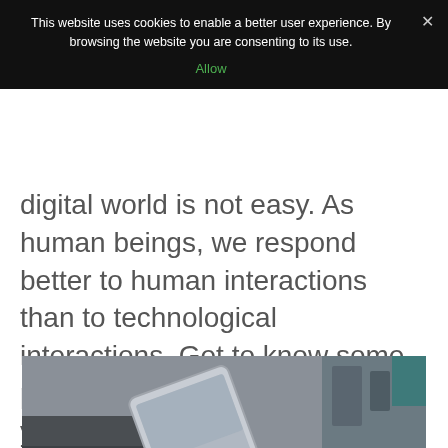This website uses cookies to enable a better user experience. By browsing the website you are consenting to its use.
Allow
digital world is not easy. As human beings, we respond better to human interactions than to technological interactions. Get to know some practices that can really help your business grow digitally.
[Figure (photo): Person's hand touching a tablet screen, with a wrist wearing a fitness tracker, shot in a blurred indoor background.]